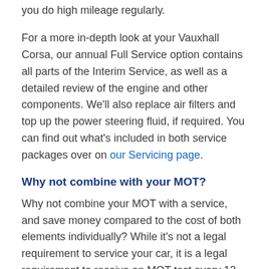you do high mileage regularly.
For a more in-depth look at your Vauxhall Corsa, our annual Full Service option contains all parts of the Interim Service, as well as a detailed review of the engine and other components. We'll also replace air filters and top up the power steering fluid, if required. You can find out what's included in both service packages over on our Servicing page.
Why not combine with your MOT?
Why not combine your MOT with a service, and save money compared to the cost of both elements individually? While it's not a legal requirement to service your car, it is a legal requirement to receive an MOT test every 12 months in the UK, once your car is over three years old, to ensure your vehicle is